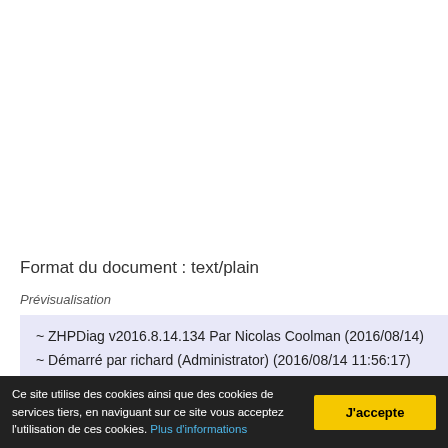Format du document : text/plain
Prévisualisation
~ ZHPDiag v2016.8.14.134 Par Nicolas Coolman (2016/08/14)
~ Démarré par richard (Administrator) (2016/08/14 11:56:17)
~ Site: https://www.nicolascoolman.com
~ Facebook: https://www.facebook.com/nicolascoolman1
Ce site utilise des cookies ainsi que des cookies de services tiers, en naviguant sur ce site vous acceptez l'utilisation de ces cookies. Plus d'informations